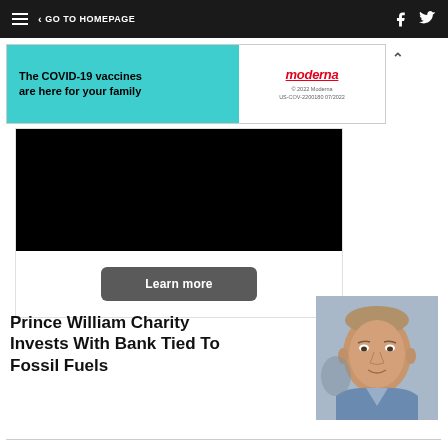GO TO HOMEPAGE
[Figure (screenshot): Moderna COVID-19 vaccine advertisement banner: 'The COVID-19 vaccines are here for your family' on teal background with Moderna logo on white background]
[Figure (screenshot): Video player with black screen and a 'Learn more' button below]
Prince William Charity Invests With Bank Tied To Fossil Fuels
[Figure (photo): Photo of Prince William looking serious, outdoor background]